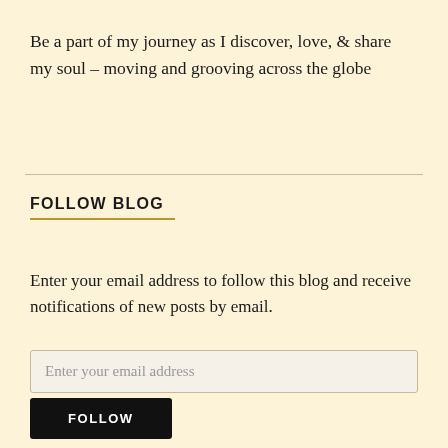Be a part of my journey as I discover, love, & share my soul – moving and grooving across the globe
FOLLOW BLOG
Enter your email address to follow this blog and receive notifications of new posts by email.
Enter your email address
FOLLOW